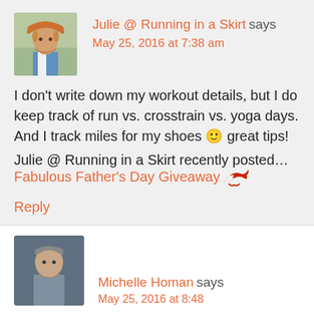Julie @ Running in a Skirt says
May 25, 2016 at 7:38 am
I don't write down my workout details, but I do keep track of run vs. crosstrain vs. yoga days. And I track miles for my shoes 🙂 great tips!
Julie @ Running in a Skirt recently posted…
Fabulous Father's Day Giveaway
Reply
Michelle Homan says
May 25, 2016 at 8:48